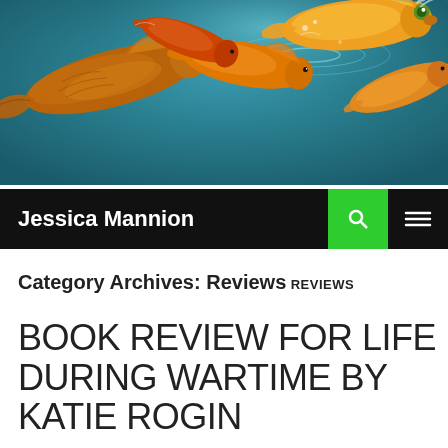[Figure (photo): Overhead photo of colorful koi fish swimming in teal/blue-green water, with orange, gold, and brown koi visible from above.]
Jessica Mannion
Category Archives: Reviews
REVIEWS
BOOK REVIEW FOR LIFE DURING WARTIME BY KATIE ROGIN